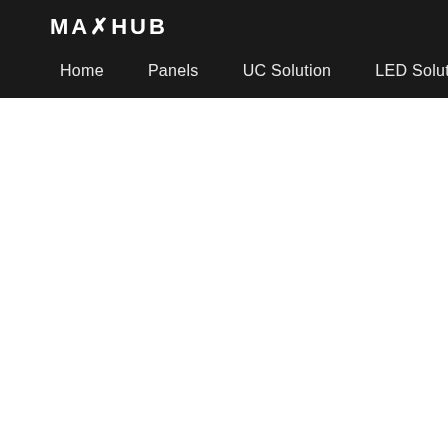MAXHUB
Home  Panels  UC Solution  LED Solution  Accesso